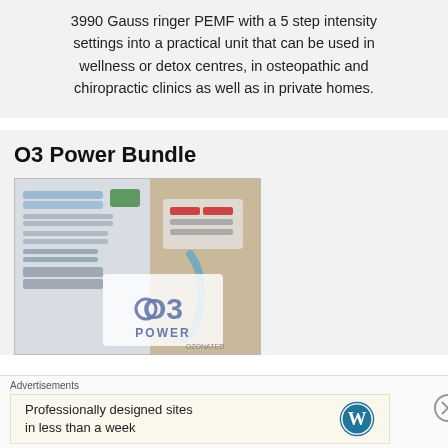3990 Gauss ringer PEMF with a 5 step intensity settings into a practical unit that can be used in wellness or detox centres, in osteopathic and chiropractic clinics as well as in private homes.
O3 Power Bundle
[Figure (photo): Product photo of O3 Power Bundle showing medical/ozone equipment with blue masks and devices, overlaid with O3 POWER logo text]
Advertisements
Professionally designed sites in less than a week